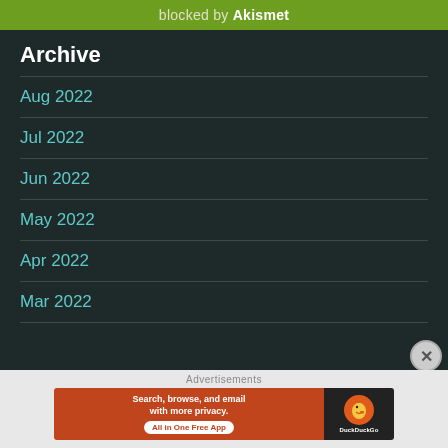blocked by Akismet
Archive
Aug 2022
Jul 2022
Jun 2022
May 2022
Apr 2022
Mar 2022
Advertisements
[Figure (screenshot): DuckDuckGo advertisement banner: Search, browse, and email with more privacy. All in One Free App]